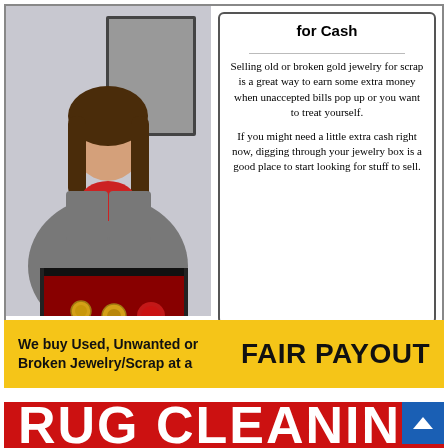[Figure (photo): Woman in gray blazer holding a red-velvet tray with gold jewelry items, standing in an office with framed photos on wall]
for Cash
Selling old or broken gold jewelry for scrap is a great way to earn some extra money when unaccepted bills pop up or you want to treat yourself.
If you might need a little extra cash right now, digging through your jewelry box is a good place to start looking for stuff to sell.
We buy Used, Unwanted or Broken Jewelry/Scrap at a   FAIR PAYOUT
2778 Middlefield Road, Palo Alto | (408) 337-0332 | pacificpreciousmetals.com
Mon-Fri 10 a.m. – 5:30 p.m. | Sat 11 a.m. – 4 p.m. | NO APPOINTMENT NEEDED
[Figure (illustration): Red banner with large white bold text reading RUG CLEANING]